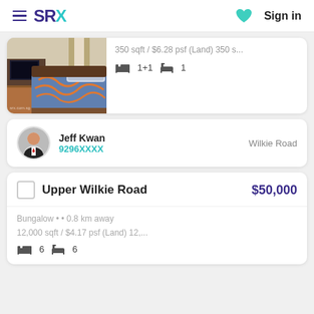SRX | Sign in
[Figure (photo): Bedroom photo with blue patterned bedspread and wooden furniture]
350 sqft / $6.28 psf (Land) 350 s...
1+1  1
Jeff Kwan 9296XXXX  Wilkie Road
Upper Wilkie Road  $50,000
Bungalow • • 0.8 km away
12,000 sqft / $4.17 psf (Land) 12,...
6  6